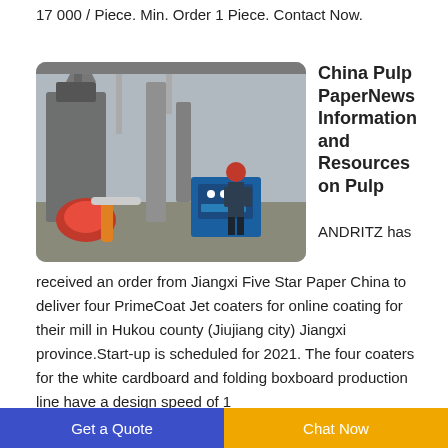17 000 / Piece. Min. Order 1 Piece. Contact Now.
[Figure (photo): Industrial paper mill machinery with worker in red hard hat operating a blue control panel.]
China Pulp PaperNews Information and Resources on Pulp
ANDRITZ has received an order from Jiangxi Five Star Paper China to deliver four PrimeCoat Jet coaters for online coating for their mill in Hukou county (Jiujiang city) Jiangxi province.Start-up is scheduled for 2021. The four coaters for the white cardboard and folding boxboard production line have a design speed of 1
Get a Quote   Chat Now